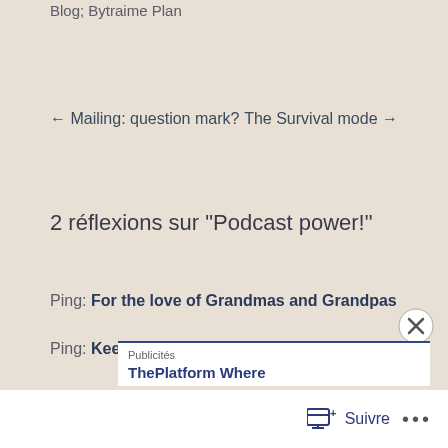Blog; Bytraime Plan
← Mailing: question mark?   The Survival mode →
2 réflexions sur "Podcast power!"
Ping: For the love of Grandmas and Grandpas
Ping: Keep making
Publicités
ThePlatform Where